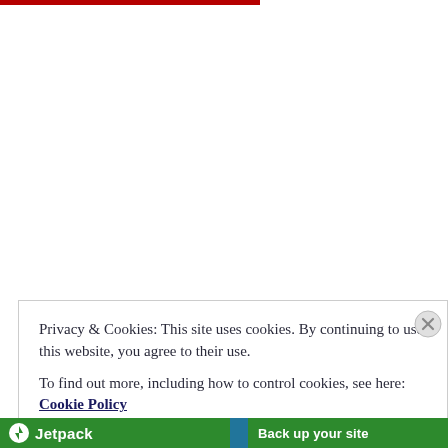[Figure (other): Red horizontal bar at top of page, partial width]
Privacy & Cookies: This site uses cookies. By continuing to use this website, you agree to their use.
To find out more, including how to control cookies, see here: Cookie Policy
[Figure (other): Close and accept button and X dismiss button for cookie notice]
[Figure (other): Jetpack green banner at bottom: Jetpack logo on left, 'Back up your site' text on right]